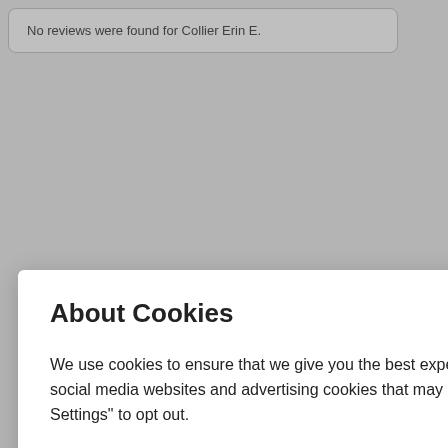No reviews were found for Collier Erin E.
We use cookies to ensure that we give you the best experience on our website. This includes cookies from third party social media websites and advertising cookies that may analyze your use of this site. Click "Got it" to agree or "Cookie Settings" to opt out.
Cookie Notice
About Cookies
Got It
Cookies Settings